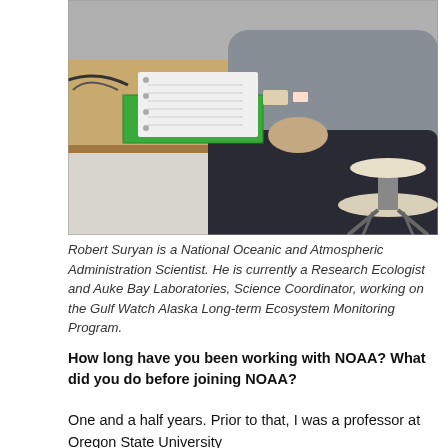[Figure (photo): A person wearing a grey sweatshirt sits on a rolling stool at a wooden desk or workbench. A green binder/notebook and a white binder with lined paper are open on the desk surface. Various items and cables are visible on the desk.]
Robert Suryan is a National Oceanic and Atmospheric Administration Scientist. He is currently a Research Ecologist and Auke Bay Laboratories, Science Coordinator, working on the Gulf Watch Alaska Long-term Ecosystem Monitoring Program.
How long have you been working with NOAA?  What did you do before joining NOAA?
One and a half years.  Prior to that, I was a professor at Oregon State University